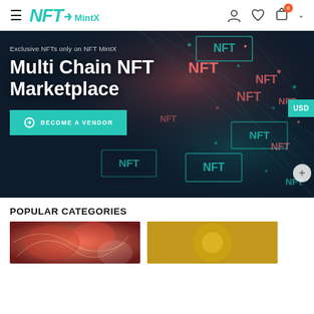NFTMintX navigation bar with hamburger menu, logo, user icon, heart icon, cart icon with badge 0, and chevron
[Figure (screenshot): Dark NFT marketplace hero banner with glowing NFT text blocks in teal and red/orange on dark background. Text overlay: 'Exclusive NFTs only on NFT MintX' and 'Multi Chain NFT Marketplace' with a teal 'BECOME A VENDOR' button. USD tab on the right edge.]
POPULAR CATEGORIES
[Figure (photo): Colorful abstract/art NFT thumbnail image (left category card)]
[Figure (illustration): Gold/yellow colored category thumbnail (right category card)]